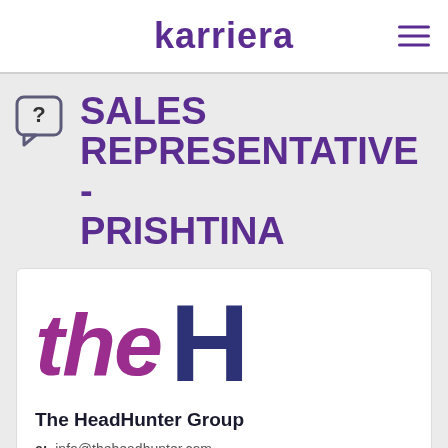karriera
SALES REPRESENTATIVE - PRISHTINA
[Figure (logo): The HeadHunter Group logo — stylized 'the' in magenta/purple italic text beside a large bold dark-blue 'H']
The HeadHunter Group
e: info@theheadhunter.com
w: www.headhunter.al